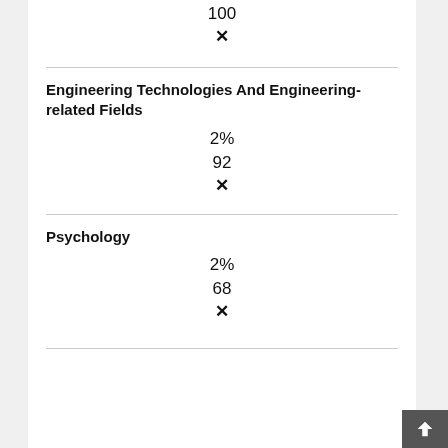100
✕
Engineering Technologies And Engineering-related Fields
2%
92
✕
Psychology
2%
68
✕